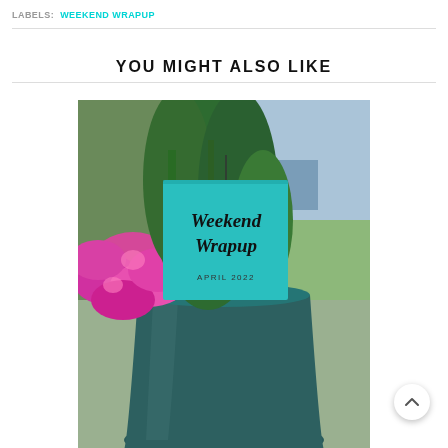LABELS:  WEEKEND WRAPUP
YOU MIGHT ALSO LIKE
[Figure (photo): A teal/turquoise square card reading 'Weekend Wrapup APRIL 2022' propped in front of a blue-green metal bucket pot containing pink cactus flowers and tropical green foliage, with a residential driveway visible in the background.]